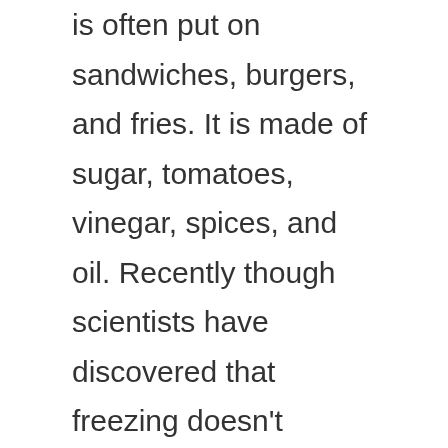is often put on sandwiches, burgers, and fries. It is made of sugar, tomatoes, vinegar, spices, and oil. Recently though scientists have discovered that freezing doesn't change the properties of ketchup at all. They found that it won't get thicker or thicken up when it refreezes. This means that you can put as much as ketchup into a shaker as you want without concern for it not turning out well when you have to use it later. If your